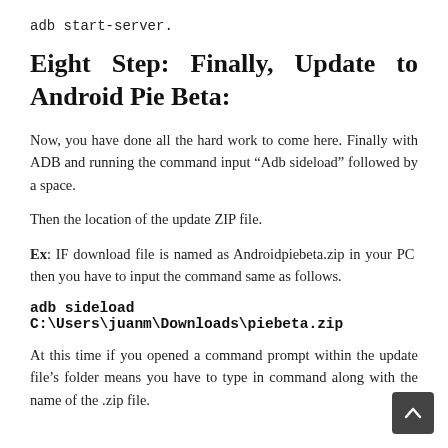adb start-server.
Eight Step: Finally, Update to Android Pie Beta:
Now, you have done all the hard work to come here. Finally with ADB and running the command input “Adb sideload” followed by a space.
Then the location of the update ZIP file.
Ex: IF download file is named as Androidpiebeta.zip in your PC then you have to input the command same as follows.
adb sideload C:\Users\juanm\Downloads\piebeta.zip
At this time if you opened a command prompt within the update file’s folder means you have to type in command along with the name of the .zip file.